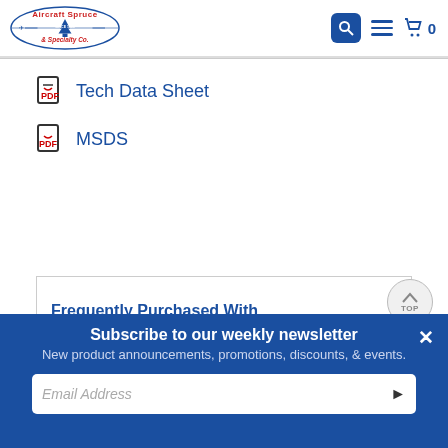[Figure (logo): Aircraft Spruce & Specialty Co. logo with airplane and tree graphic, red and blue text, 'Since 1965']
Tech Data Sheet
MSDS
Frequently Purchased With
Subscribe to our weekly newsletter
New product announcements, promotions, discounts, & events.
Email Address